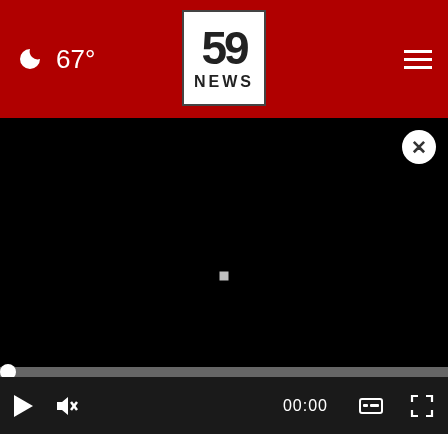67° | 59 NEWS
[Figure (screenshot): Black video player screen with a small white square in the center, close (X) button top-right, progress bar, play/mute/time controls at bottom showing 00:00]
Dangers Of Heat And Pets
[Figure (screenshot): Thumbnail image strip at bottom with related video thumbnail and metadata: News / 2 years ago]